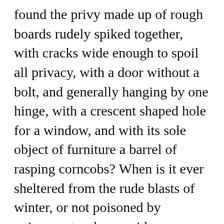found the privy made up of rough boards rudely spiked together, with cracks wide enough to spoil all privacy, with a door without a bolt, and generally hanging by one hinge, with a crescent shaped hole for a window, and with its sole object of furniture a barrel of rasping corncobs? When is it ever sheltered from the rude blasts of winter, or not poisoned by noisome stenches, acrid vapors and unclean flies? After such an unsightly but truthful picture, can we wonder that the calls of nature are looked upon as grievous dispensations of Providence, as hateful duties which are to be put off as long as possible and obeyed as seldom as